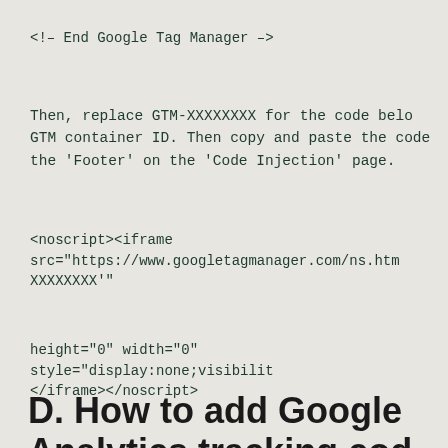<!-- End Google Tag Manager -->
Then, replace GTM-XXXXXXXX for the code below with your GTM container ID. Then copy and paste the code into the 'Footer' on the 'Code Injection' page.
<noscript><iframe
src="https://www.googletagmanager.com/ns.html?id=GTM-XXXXXXXX"
height="0" width="0" style="display:none;visibility:hidden">
</iframe></noscript>
D. How to add Google Analytics tracking cod